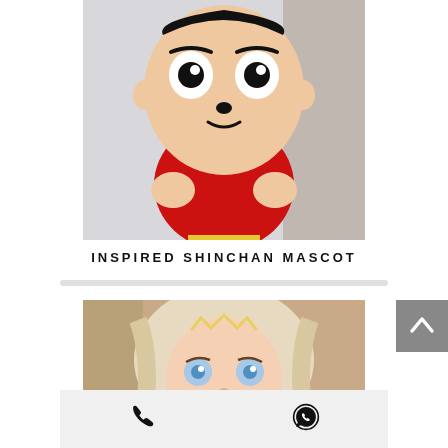[Figure (photo): Person wearing an Inspired Shinchan mascot costume with a large round cartoon head, dark eyebrows, round eyes, small nose, wearing a red long-sleeve shirt, standing indoors]
INSPIRED SHINCHAN MASCOT
[Figure (photo): Elsa (Frozen) mascot costume head closeup showing blonde braided hair, blue eyes, pink lips, realistic cartoon face]
[Figure (other): Back to top button with upward arrow on grey background]
[Figure (other): Bottom contact bar with phone icon and WhatsApp icon on light grey background]